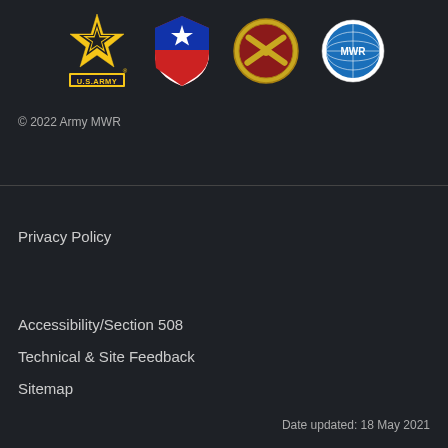[Figure (logo): Row of military logos: U.S. Army star logo, red-white-blue shield logo, yellow crossed-cannons Army ordnance logo, and MWR globe logo]
© 2022 Army MWR
Privacy Policy
Accessibility/Section 508
Technical & Site Feedback
Sitemap
Date updated: 18 May 2021